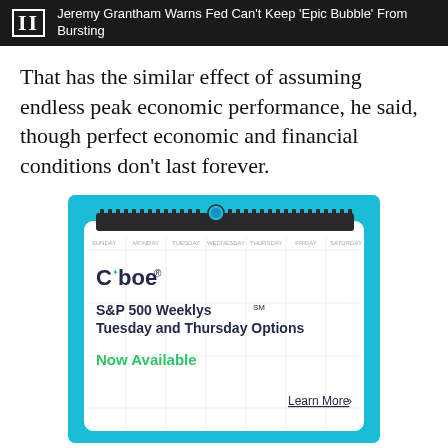II  Jeremy Grantham Warns Fed Can't Keep 'Epic Bubble' From Bursting
That has the similar effect of assuming endless peak economic performance, he said, though perfect economic and financial conditions don't last forever.
[Figure (infographic): Cboe advertisement for S&P 500 Weeklys Tuesday and Thursday Options, showing a calendar with spiral binding and 'Now Available' text in green, with a 'Learn More' link.]
Social share icons: Facebook, Twitter, Plus